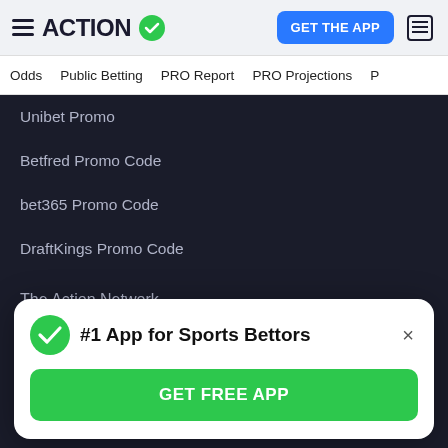ACTION
Odds
Public Betting
PRO Report
PRO Projections
Unibet Promo
Betfred Promo Code
bet365 Promo Code
DraftKings Promo Code
The Action Network
About
Careers
Action Store
[Figure (screenshot): Popup modal with green checkmark, title '#1 App for Sports Bettors', close button X, and green GET FREE APP button]
Contact Us